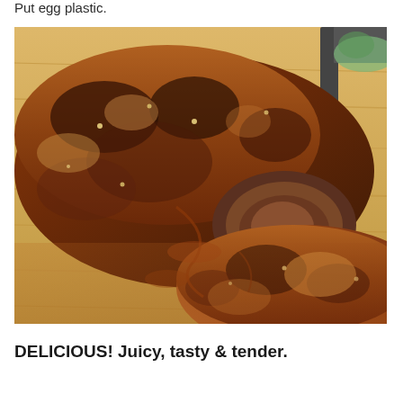Put egg plastic.
[Figure (photo): Close-up photo of glazed, roasted meat (pork) sliced on a wooden cutting board, showing caramelized brown crust and juicy interior, with a knife visible in the upper right corner.]
DELICIOUS! Juicy, tasty & tender.